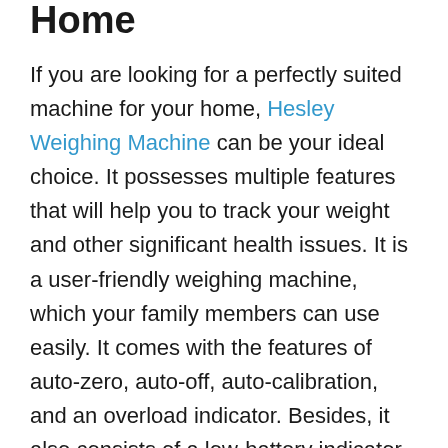Home
If you are looking for a perfectly suited machine for your home, Hesley Weighing Machine can be your ideal choice. It possesses multiple features that will help you to track your weight and other significant health issues. It is a user-friendly weighing machine, which your family members can use easily. It comes with the features of auto-zero, auto-off, auto-calibration, and an overload indicator. Besides, it also consists of a low-battery indicator.
This weighing machine encircles a large LED display. It will help you to read this machine